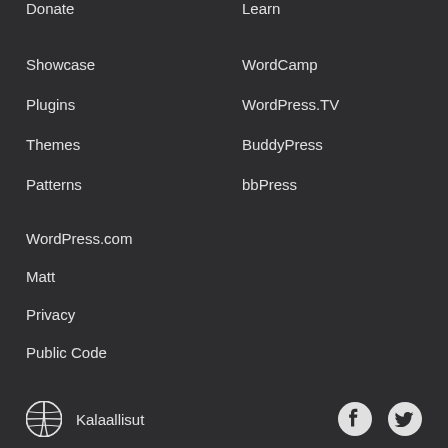Donate
Learn
Showcase
WordCamp
Plugins
WordPress.TV
Themes
BuddyPress
Patterns
bbPress
WordPress.com
Matt
Privacy
Public Code
Kalaallisut